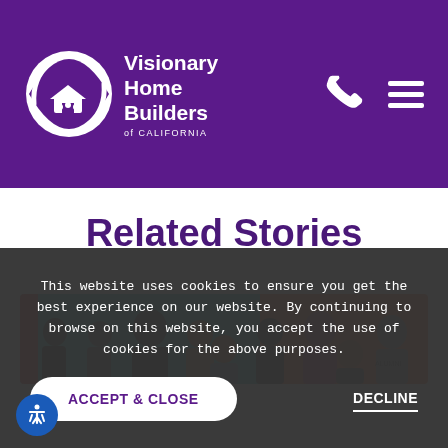Visionary Home Builders of California
Related Stories
[Figure (photo): Group photo of approximately 10 young people in front of a colorful teal and orange wall]
This website uses cookies to ensure you get the best experience on our website. By continuing to browse on this website, you accept the use of cookies for the above purposes.